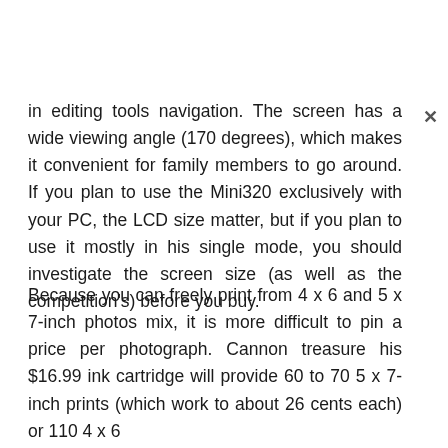in editing tools navigation. The screen has a wide viewing angle (170 degrees), which makes it convenient for family members to go around. If you plan to use the Mini320 exclusively with your PC, the LCD size matter, but if you plan to use it mostly in his single mode, you should investigate the screen size (as well as the competition's) before you buy.
Because you can freely print from 4 x 6 and 5 x 7-inch photos mix, it is more difficult to pin a price per photograph. Cannon treasure his $16.99 ink cartridge will provide 60 to 70 5 x 7-inch prints (which work to about 26 cents each) or 110 4 x 6